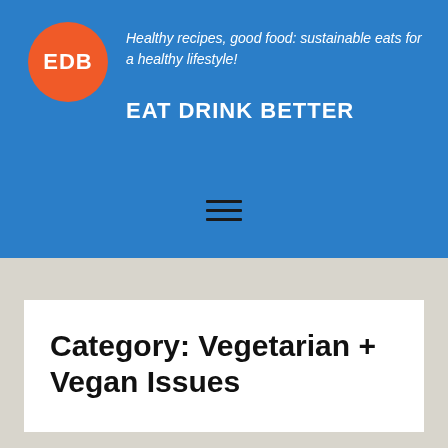[Figure (logo): Orange circle logo with white bold text 'EDB' for Eat Drink Better]
Healthy recipes, good food: sustainable eats for a healthy lifestyle!
EAT DRINK BETTER
[Figure (other): Hamburger menu icon — three horizontal lines]
Category: Vegetarian + Vegan Issues